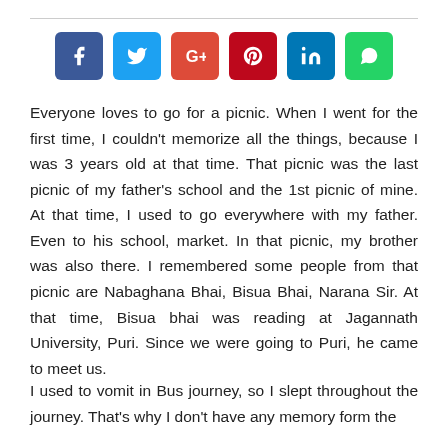[Figure (other): Social media share buttons: Facebook (blue), Twitter (light blue), Google+ (red), Pinterest (dark red), LinkedIn (blue), WhatsApp (green)]
Everyone loves to go for a picnic. When I went for the first time, I couldn't memorize all the things, because I was 3 years old at that time. That picnic was the last picnic of my father's school and the 1st picnic of mine. At that time, I used to go everywhere with my father. Even to his school, market. In that picnic, my brother was also there. I remembered some people from that picnic are Nabaghana Bhai, Bisua Bhai, Narana Sir. At that time, Bisua bhai was reading at Jagannath University, Puri. Since we were going to Puri, he came to meet us.
I used to vomit in Bus journey, so I slept throughout the journey. That's why I don't have any memory form the